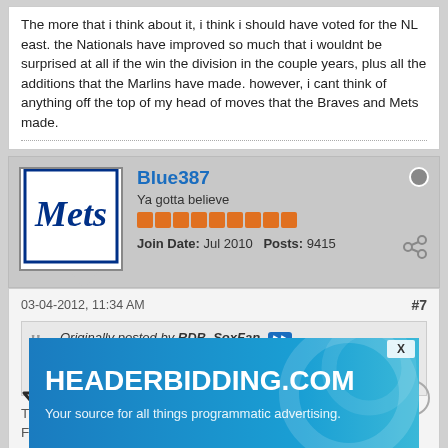The more that i think about it, i think i should have voted for the NL east. the Nationals have improved so much that i wouldnt be surprised at all if the win the division in the couple years, plus all the additions that the Marlins have made. however, i cant think of anything off the top of my head of moves that the Braves and Mets made.
Blue387
Ya gotta believe
Join Date: Jul 2010   Posts: 9415
03-04-2012, 11:34 AM
#7
Originally posted by RDB_SoxFan
however, i cant think of anything off the top of my head of moves that the Braves and Mets made.
The Braves traded Derek Lowe to the Indians. The Mets signed Frank Francisco and Jon Rauch to bolster the bullpen, which blew several saves la...
And the...
[Figure (infographic): HEADERBIDDING.COM advertisement banner — Your source for all things programmatic advertising.]